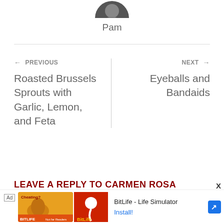[Figure (photo): Circular avatar/profile photo of a person, partially cropped at top]
Pam
← PREVIOUS
Roasted Brussels Sprouts with Garlic, Lemon, and Feta
NEXT →
Eyeballs and Bandaids
LEAVE A REPLY TO CARMEN ROSA
[Figure (screenshot): Advertisement banner for BitLife - Life Simulator app, showing a muscular arm graphic and BitLife logo, with Install! link]